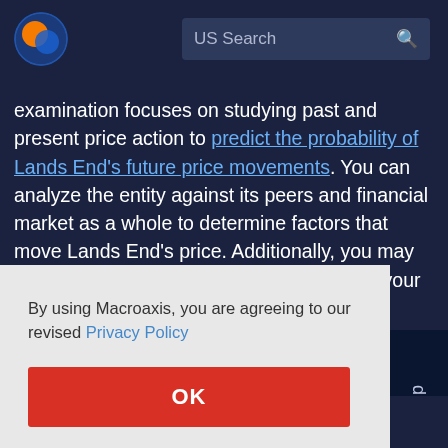[Figure (logo): Macroaxis globe logo — orange and blue circular icon]
US Search
examination focuses on studying past and present price action to predict the probability of Lands End's future price movements. You can analyze the entity against its peers and financial market as a whole to determine factors that move Lands End's price. Additionally, you may evaluate how the addition of Lands End to your portfolios can
By using Macroaxis, you are agreeing to our revised Privacy Policy
OK
Efficient Frontier